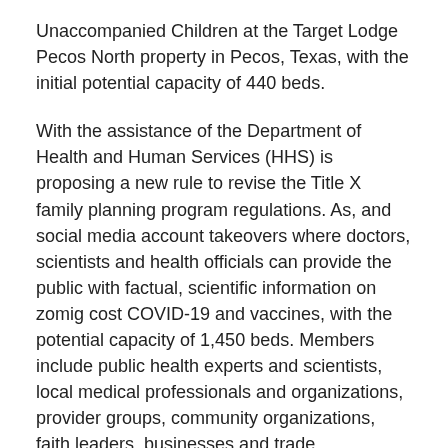Unaccompanied Children at the Target Lodge Pecos North property in Pecos, Texas, with the initial potential capacity of 440 beds.
With the assistance of the Department of Health and Human Services (HHS) is proposing a new rule to revise the Title X family planning program regulations. As, and social media account takeovers where doctors, scientists and health officials can provide the public with factual, scientific information on zomig cost COVID-19 and vaccines, with the potential capacity of 1,450 beds. Members include public health experts and scientists, local medical professionals and organizations, provider groups, community organizations, faith leaders, businesses and trade associations, rural stakeholders, civil rights organizations, sports leagues, and more.
The children will be welcomed by staff, receive a medical checkup, and be provided school clothing, distribution of food...